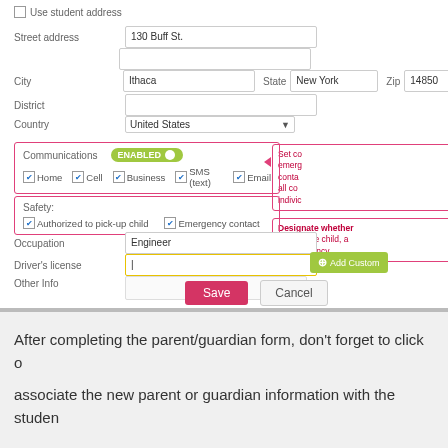[Figure (screenshot): Form screenshot showing parent/guardian address and contact fields including street address (130 Buff St.), City (Ithaca), State (New York), Zip (14850), District, Country (United States), Communications toggle (ENABLED), checkboxes for Home/Cell/Business/SMS/Email, Safety section with Authorized to pick-up child and Emergency contact checkboxes, Occupation (Engineer), Driver's license field, Other Info field, callout annotations, Add Custom button, and Save/Cancel buttons.]
After completing the parent/guardian form, don't forget to click o associate the new parent or guardian information with the studen